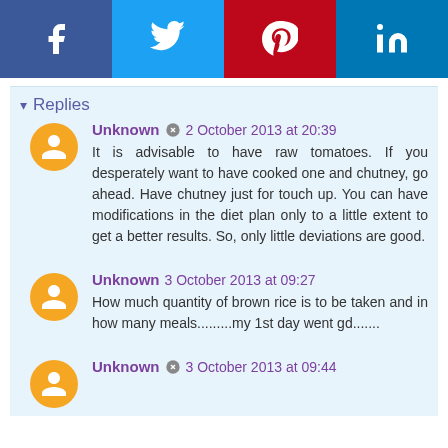[Figure (infographic): Social media share buttons: Facebook (blue), Twitter (light blue), Pinterest (red), LinkedIn (dark blue)]
Replies
Unknown  2 October 2013 at 20:39
It is advisable to have raw tomatoes. If you desperately want to have cooked one and chutney, go ahead. Have chutney just for touch up. You can have modifications in the diet plan only to a little extent to get a better results. So, only little deviations are good.
Unknown  3 October 2013 at 09:27
How much quantity of brown rice is to be taken and in how many meals.........my 1st day went gd.......
Unknown  3 October 2013 at 09:44